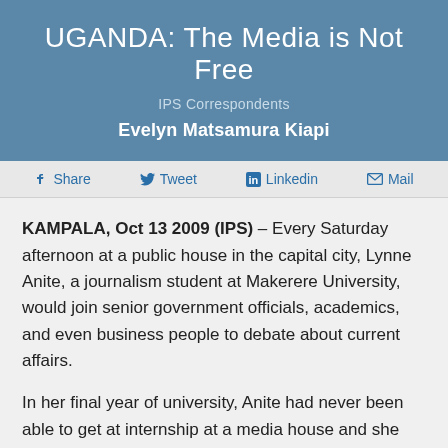UGANDA: The Media is Not Free
IPS Correspondents
Evelyn Matsamura Kiapi
Share   Tweet   Linkedin   Mail
KAMPALA, Oct 13 2009 (IPS) – Every Saturday afternoon at a public house in the capital city, Lynne Anite, a journalism student at Makerere University, would join senior government officials, academics, and even business people to debate about current affairs.
In her final year of university, Anite had never been able to get at internship at a media house and she was not even sure she would find a job after graduation.